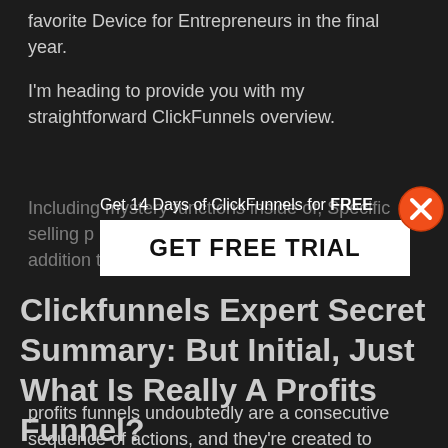favorite Device for Entrepreneurs in the final year.
I'm heading to provide you with my straightforward ClickFunnels overview.
Including mystery functions inside of, Specific selling p… in addition to comparations with its competitors.
[Figure (screenshot): Popup overlay with text 'Get 14 Days of ClickFunnels for FREE' and a white button labeled 'GET FREE TRIAL', with an orange X close button in the top right]
Clickfunnels Expert Secret Summary: But Initial, Just What Is Really A Profits Funnel?
profits funnels undoubtedly are a consecutive sequence of actions, and they're created to rework